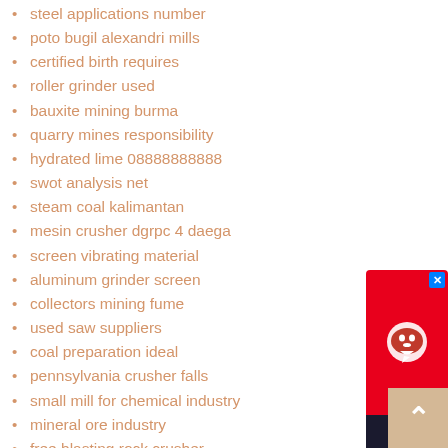steel applications number
poto bugil alexandri mills
certified birth requires
roller grinder used
bauxite mining burma
quarry mines responsibility
hydrated lime 08888888888
swot analysis net
steam coal kalimantan
mesin crusher dgrpc 4 daega
screen vibrating material
aluminum grinder screen
collectors mining fume
used saw suppliers
coal preparation ideal
pennsylvania crusher falls
small mill for chemical industry
mineral ore industry
free blasting rock crusher
sand production controlled
[Figure (infographic): Chat Now widget with red background showing a chat icon and dark panel with 'Chat Now' text, with a blue X close button in the top right corner]
[Figure (infographic): Scroll-to-top button with beige/tan background and upward pointing chevron arrow]